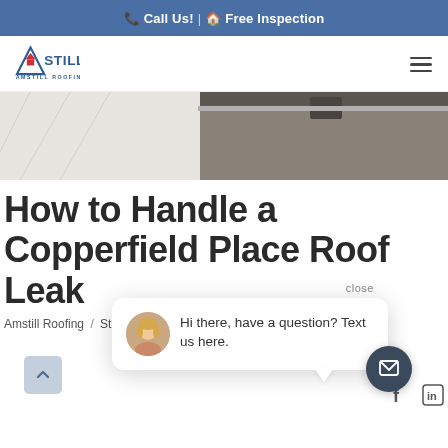Call Us! | Free Inspection
[Figure (logo): Amstill Roofing logo with stylized A and house icon, blue text reading AMSTILL ROOFING]
[Figure (photo): Hero image showing a roof or flooring detail, partial view of a building edge]
How to Handle a Copperfield Place Roof Leak
Amstill Roofing / Storm Damage / May 18, 2022
[Figure (infographic): Chat popup overlay with female avatar and text: Hi there, have a question? Text us here.]